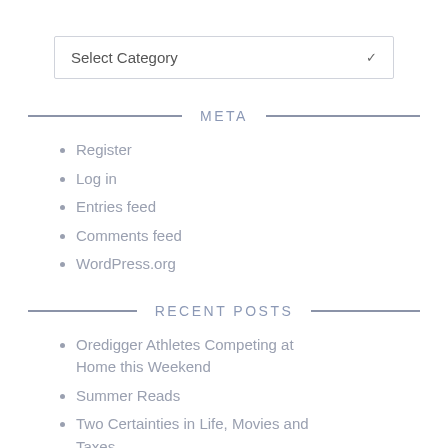[Figure (other): Dropdown selector box with label 'Select Category' and a chevron arrow on the right]
META
Register
Log in
Entries feed
Comments feed
WordPress.org
RECENT POSTS
Oredigger Athletes Competing at Home this Weekend
Summer Reads
Two Certainties in Life, Movies and Taxes